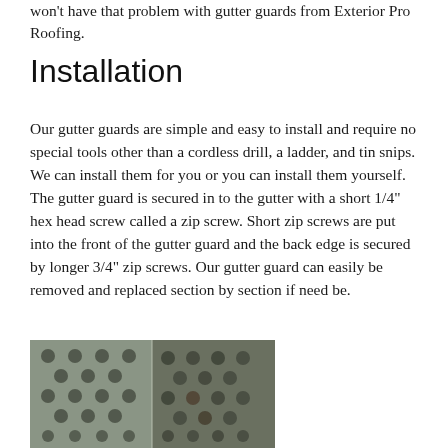won't have that problem with gutter guards from Exterior Pro Roofing.
Installation
Our gutter guards are simple and easy to install and require no special tools other than a cordless drill, a ladder, and tin snips. We can install them for you or you can install them yourself. The gutter guard is secured in to the gutter with a short 1/4" hex head screw called a zip screw. Short zip screws are put into the front of the gutter guard and the back edge is secured by longer 3/4" zip screws. Our gutter guard can easily be removed and replaced section by section if need be.
[Figure (photo): Close-up photo of perforated metal gutter guard material, showing circular holes in a gray metal sheet, split into two panels side by side.]